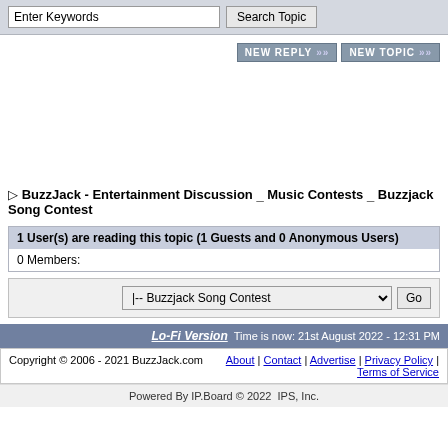Enter Keywords  Search Topic
NEW REPLY >> NEW TOPIC >>
▷ BuzzJack - Entertainment Discussion _ Music Contests _ Buzzjack Song Contest
| 1 User(s) are reading this topic (1 Guests and 0 Anonymous Users) |
| 0 Members: |
|-- Buzzjack Song Contest  Go
Lo-Fi Version  Time is now: 21st August 2022 - 12:31 PM
Copyright © 2006 - 2021 BuzzJack.com   About | Contact | Advertise | Privacy Policy | Terms of Service
Powered By IP.Board © 2022  IPS, Inc.